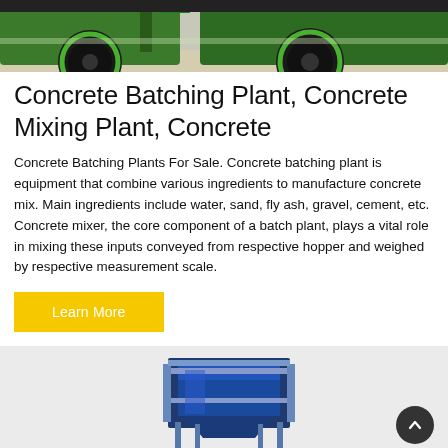[Figure (photo): Top portion of a green concrete mixing/batching plant vehicle, showing large black wheels and green metal frame components, photographed outdoors.]
Concrete Batching Plant, Concrete Mixing Plant, Concrete
Concrete Batching Plants For Sale. Concrete batching plant is equipment that combine various ingredients to manufacture concrete mix. Main ingredients include water, sand, fly ash, gravel, cement, etc. Concrete mixer, the core component of a batch plant, plays a vital role in mixing these inputs conveyed from respective hopper and weighed by respective measurement scale.
Learn More
[Figure (photo): Blue concrete hopper/aggregate bin equipment on a light gray background, partially visible at the bottom of the page.]